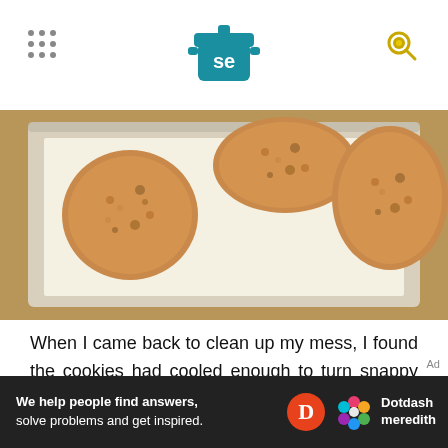Serious Eats (SE logo)
[Figure (photo): Overhead view of three large round cookies on a parchment-lined baking sheet on a wooden surface]
When I came back to clean up my mess, I found the cookies had cooled enough to turn snappy around the edges, with centers that were slightly squishy to the touch. Out of idle curiosity, I took a bite, and it felt like mainlining brown butter—an almost shocking hit of nutty richness. The cookie was all toasty and crisp around the edges, yet unbelievably soft and chewy at the same time, an
[Figure (other): Dotdash Meredith advertisement banner: 'We help people find answers, solve problems and get inspired.']